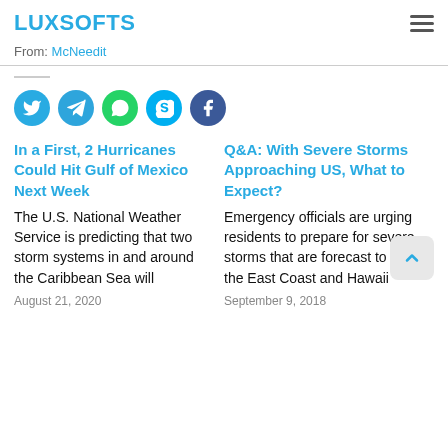LUXSOFTS
From: McNeedit
[Figure (infographic): Social sharing icons: Twitter (blue), Telegram (blue), WhatsApp (green), Skype (light blue), Facebook (dark blue)]
In a First, 2 Hurricanes Could Hit Gulf of Mexico Next Week
The U.S. National Weather Service is predicting that two storm systems in and around the Caribbean Sea will
August 21, 2020
Q&A: With Severe Storms Approaching US, What to Expect?
Emergency officials are urging residents to prepare for severe storms that are forecast to hit the East Coast and Hawaii
September 9, 2018